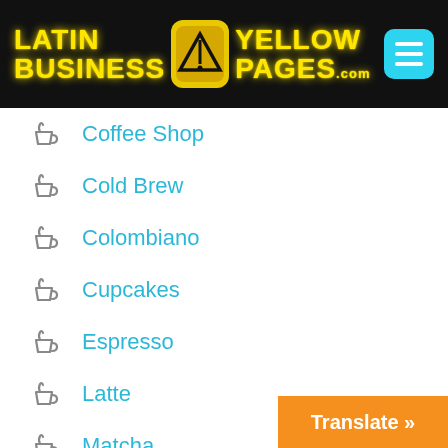Latin Business Yellow Pages .com
Coffee Shop
Cold Brew
Colombiano
Cupcakes
Espresso
Latte
Matcha
Mocha
Online Ordering